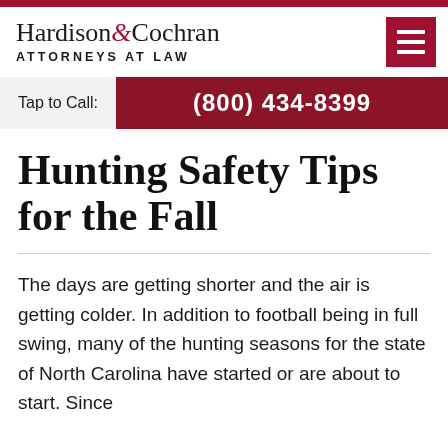Hardison & Cochran ATTORNEYS AT LAW
Tap to Call: (800) 434-8399
Hunting Safety Tips for the Fall
The days are getting shorter and the air is getting colder. In addition to football being in full swing, many of the hunting seasons for the state of North Carolina have started or are about to start. Since